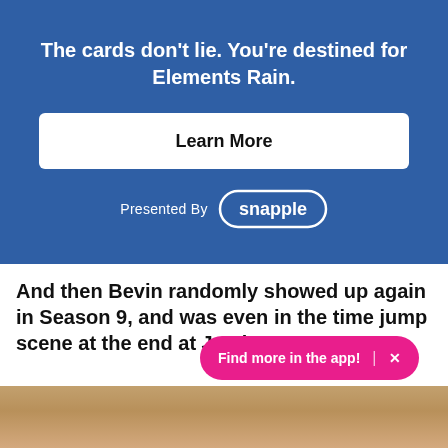The cards don't lie. You're destined for Elements Rain.
Learn More
Presented By snapple
And then Bevin randomly showed up again in Season 9, and was even in the time jump scene at the end at Jamie's game!
Find more in the app! ×
[Figure (photo): Bottom strip showing a partial photo of a person, cropped at bottom of page]